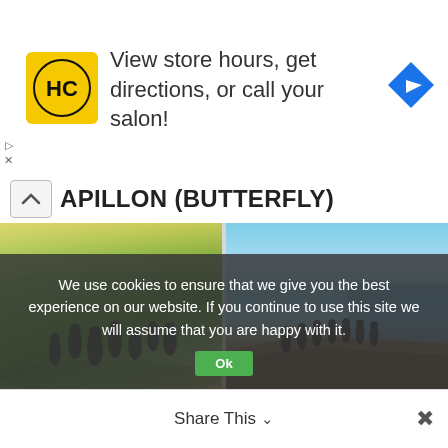[Figure (screenshot): Ad banner for HairClub salon with logo, text 'View store hours, get directions, or call your salon!', and Google Maps navigation icon]
PAPILLON (BUTTERFLY)
[Figure (photo): BTS members running in a green field with sunlight, labeled BTS]
[Figure (photo): BTS members hiking on a cliff edge overlooking the sea, labeled BTS]
[Figure (photo): BTS member among tall trees in a forest]
[Figure (photo): BTS member smiling in a forest]
We use cookies to ensure that we give you the best experience on our website. If you continue to use this site we will assume that you are happy with it.
Ok
Share This